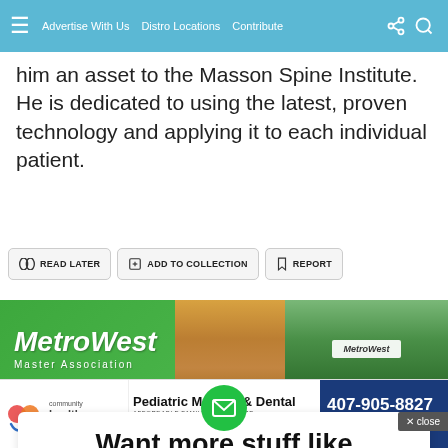≡  Advertise With Us  Distro Locations  Contribute
him an asset to the Masson Spine Institute. He is dedicated to using the latest, proven technology and applying it to each individual patient.
READ LATER
ADD TO COLLECTION
REPORT
[Figure (photo): MetroWest Master Association advertisement banner showing the MetroWest logo on a green background with building/community photos]
[Figure (other): Email newsletter signup card with green envelope icon and 'Want more stuff like' heading]
[Figure (other): Community Health Centers advertisement for Pediatric Medical & Dental - Affordable Family Healthcare, phone 407-905-8827, locations throughout Central Florida]